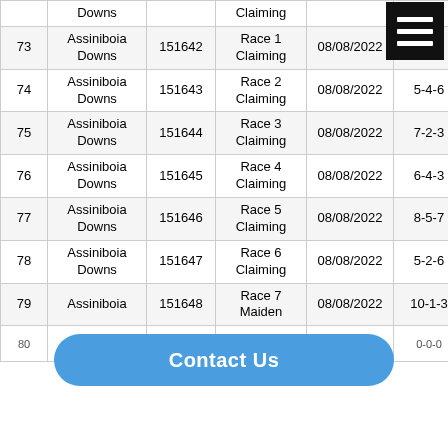| # | Track | ID | Race | Date | Horses/Finish | Place | Result |
| --- | --- | --- | --- | --- | --- | --- | --- |
|  | Downs |  | Claiming |  |  |  |  |
| 73 | Assiniboia Downs | 151642 | Race 1 Claiming | 08/08/2022 | 4-3-2 |  | -$2… |
| 74 | Assiniboia Downs | 151643 | Race 2 Claiming | 08/08/2022 | 5-4-6 | 6 | -$2… |
| 75 | Assiniboia Downs | 151644 | Race 3 Claiming | 08/08/2022 | 7-2-3 | 2 | $2… |
| 76 | Assiniboia Downs | 151645 | Race 4 Claiming | 08/08/2022 | 6-4-3 | 5 | -$2… |
| 77 | Assiniboia Downs | 151646 | Race 5 Claiming | 08/08/2022 | 8-5-7 | 5 | $2… |
| 78 | Assiniboia Downs | 151647 | Race 6 Claiming | 08/08/2022 | 5-2-6 | 8 | -$2… |
| 79 | Assiniboia | 151648 | Race 7 Maiden | 08/08/2022 | 10-1-3 | 6 | -$2… |
| 80 | Downs | 150… | Claiming | 08/08/2022 | 0-0-0 | 0 | $12… |